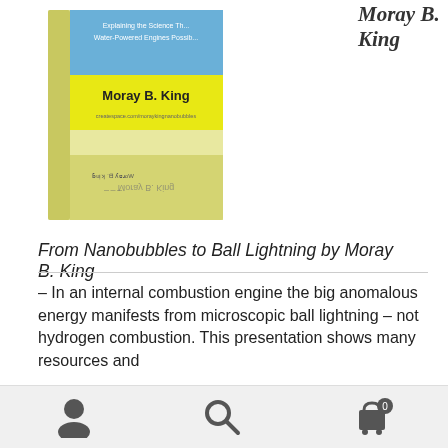[Figure (photo): Book cover of 'From Nanobubbles to Ball Lightning' by Moray B. King, yellow cover with text about water-powered engines]
Moray B. King
From Nanobubbles to Ball Lightning by Moray B. King
– In an internal combustion engine the big anomalous energy manifests from microscopic ball lightning – not hydrogen combustion. This presentation shows many resources and
Great News! Flat 25% discount on everything today. Use code: 2022estc25 Dismiss